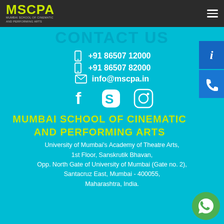MSCPA — Mumbai School of Cinematic and Performing Arts
CONTACT US
+91 86507 12000
+91 86507 82000
info@mscpa.in
[Figure (logo): Social media icons: Facebook, Skype, Instagram]
MUMBAI SCHOOL OF CINEMATIC AND PERFORMING ARTS
University of Mumbai's Academy of Theatre Arts, 1st Floor, Sanskrutik Bhavan, Opp. North Gate of University of Mumbai (Gate no. 2), Santacruz East, Mumbai - 400055, Maharashtra, India.